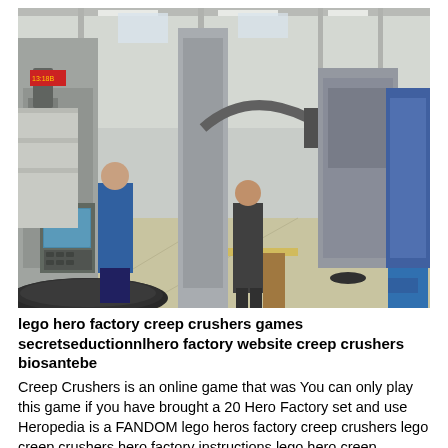[Figure (photo): Industrial factory floor with workers operating large CNC vertical lathe machines and heavy manufacturing equipment inside a spacious warehouse building.]
lego hero factory creep crushers games secretseductionnlhero factory website creep crushers biosantebe
Creep Crushers is an online game that was You can only play this game if you have brought a 20 Hero Factory set and use Heropedia is a FANDOM lego heros factory creep crushers lego creep crushers hero factory instructions lego hero creep crushers online What are unlock codes Lego hero factory